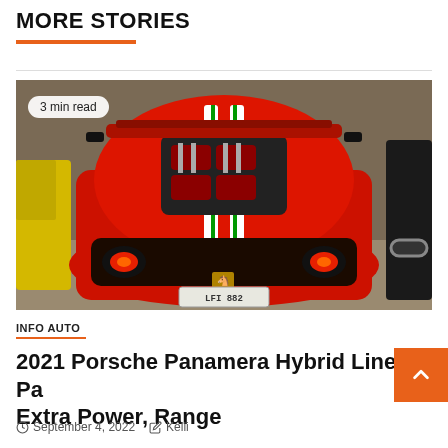MORE STORIES
[Figure (photo): Rear view of a red Ferrari with white and green racing stripes on the hood/roof, parked in a garage showroom. Yellow car visible on left, black car visible on right. License plate reads LFI 882.]
3 min read
INFO AUTO
2021 Porsche Panamera Hybrid Lineup Packs Extra Power, Range
September 4, 2022   Kelli